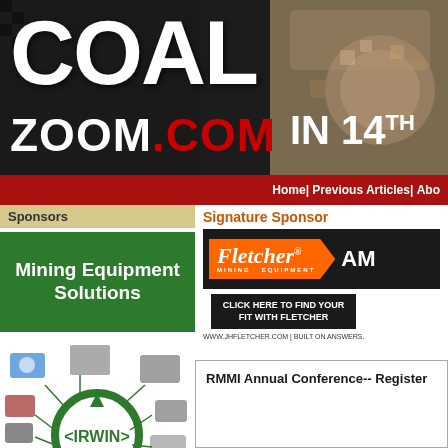[Figure (screenshot): CoalZoom.com website header banner with large white COAL text, ZOOM.COM in white and red, IN 14TH text, and mining equipment image on right side]
Home| Previous Articles| Abo
Sponsors
[Figure (illustration): Mining Equipment Solutions green advertisement banner]
[Figure (logo): IRWIN mining equipment diagram with circular arrow logo and various mining equipment images]
Signature Sponsor
[Figure (logo): Fletcher Mining Equipment logo on orange chevron background with black box. Text: CLICK HERE TO FIND YOUR FIT WITH FLETCHER. WWW.JHFLETCHER.COM | BUILT ON ANSWERS.]
RMMI Annual Conference-- Register